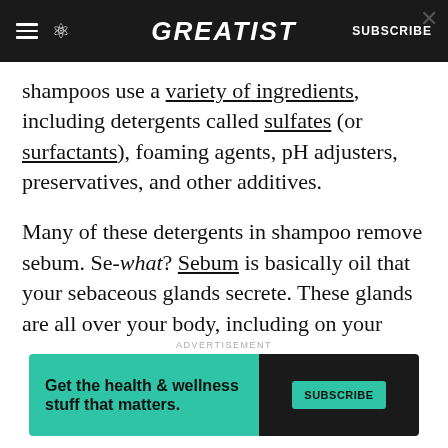GREATIST | SUBSCRIBE
shampoos use a variety of ingredients, including detergents called sulfates (or surfactants), foaming agents, pH adjusters, preservatives, and other additives.
Many of these detergents in shampoo remove sebum. Se-what? Sebum is basically oil that your sebaceous glands secrete. These glands are all over your body, including on your scalp, at the root of your hair follicles.
Sebum's main purpose for your hair is to keep it
[Figure (infographic): Advertisement banner with teal/green left panel reading 'Get the health & wellness stuff that matters.' and dark right panel with SUBSCRIBE button. ADVERTISEMENT label above.]